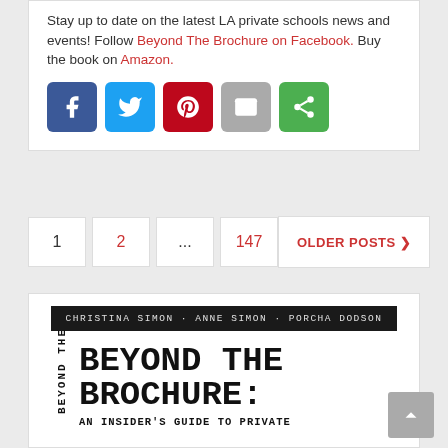Stay up to date on the latest LA private schools news and events! Follow Beyond The Brochure on Facebook. Buy the book on Amazon.
[Figure (infographic): Row of five social media sharing buttons: Facebook (blue), Twitter (light blue), Pinterest (dark red), Email (gray), Share (green)]
1  2  ...  147   OLDER POSTS
[Figure (photo): Book cover for 'Beyond The Brochure: An Insider's Guide to Private' by Christina Simon, Anne Simon, Porcha Dodson. Black header bar with authors' names, large monospace title text, spine text reading 'BEYOND THE'.]